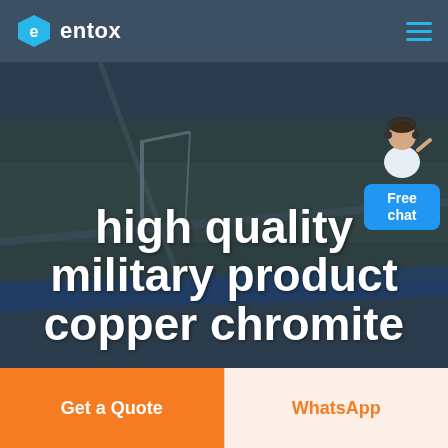entox
[Figure (screenshot): Aerial photograph of an industrial/construction site with cranes and infrastructure, overlaid with a dark blue tint. A customer service representative figure appears in the top right with a 'Free chat' button.]
high quality military product copper chromite
Get a Quote
WhatsApp